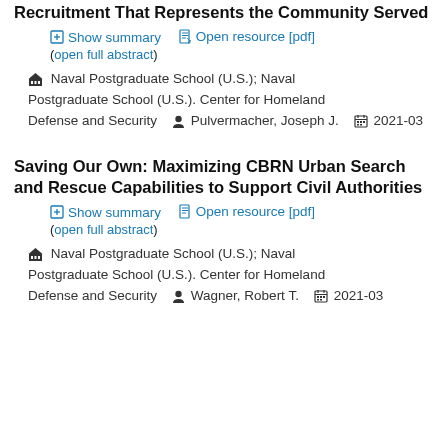Recruitment That Represents the Community Served
Show summary | Open resource [pdf] | (open full abstract)
Naval Postgraduate School (U.S.); Naval Postgraduate School (U.S.). Center for Homeland Defense and Security   Pulvermacher, Joseph J.   2021-03
Saving Our Own: Maximizing CBRN Urban Search and Rescue Capabilities to Support Civil Authorities
Show summary | Open resource [pdf] | (open full abstract)
Naval Postgraduate School (U.S.); Naval Postgraduate School (U.S.). Center for Homeland Defense and Security   Wagner, Robert T.   2021-03